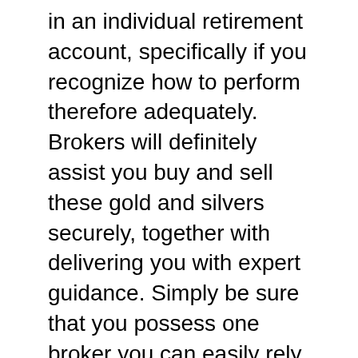in an individual retirement account, specifically if you recognize how to perform therefore adequately. Brokers will definitely assist you buy and sell these gold and silvers securely, together with delivering you with expert guidance. Simply be sure that you possess one broker you can easily rely on.
A final choice you have if you would love to transform your typical IRAs right into self-reliant committing possibilities involving gold is to carry over your profile to a traditional IRA and acquisition gold. This option is actually not right for every person. Many investors discover that they merely carry out certainly not possess the amount of time to participate normal roll-overs. Furthermore, if the firm that you are actually acquiring is